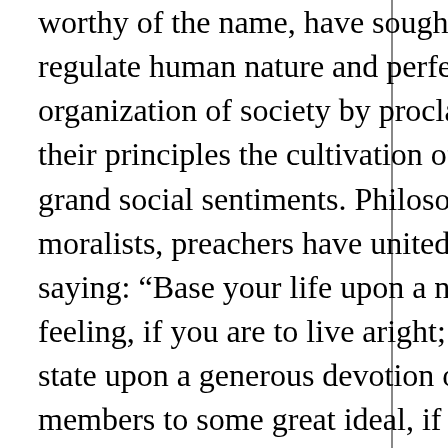worthy of the name, have sought to regulate human nature and perfect the organization of society by proclaiming as their principles the cultivation of some grand social sentiments. Philosophers, moralists, preachers have united in saying: “Base your life upon a noble feeling, if you are to live aright; base the state upon a generous devotion of its members to some great ideal, if it is to prosper and be strong.” All have agreed that the difference of life could only be harmonized by placing action under the stimulus of high unselfish passion. Odd-